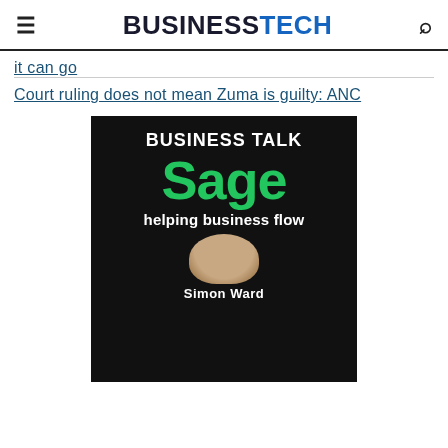BUSINESSTECH
it can go
Court ruling does not mean Zuma is guilty: ANC
[Figure (illustration): Business Talk Sage advertisement banner with green Sage logo, 'helping business flow' tagline, and a person named Simon Ward at bottom on black background]